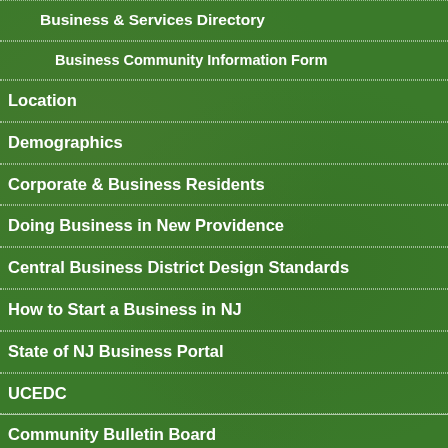Business & Services Directory
Business Community Information Form
Location
Demographics
Corporate & Business Residents
Doing Business in New Providence
Central Business District Design Standards
How to Start a Business in NJ
State of NJ Business Portal
UCEDC
Community Bulletin Board
Emergency Services & Information
Emergency Dispatch Center